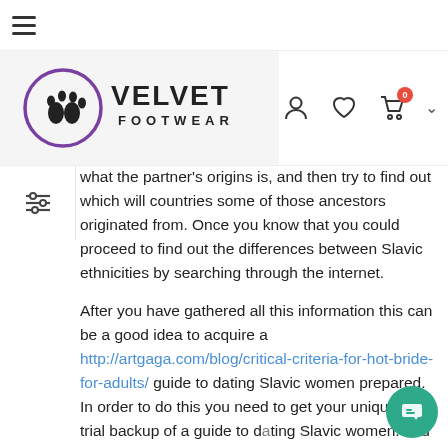[Figure (logo): Velvet Footwear logo with footprint icon and purple circle]
what the partner's origins is, and then try to find out which will countries some of those ancestors originated from. Once you know that you could proceed to find out the differences between Slavic ethnicities by searching through the internet.
After you have gathered all this information this can be a good idea to acquire a http://artgaga.com/blog/critical-criteria-for-hot-bride-for-adults/ guide to dating Slavic women prepared. In order to do this you need to get your unique free trial backup of a guide to dating Slavic women. You should make sure that th